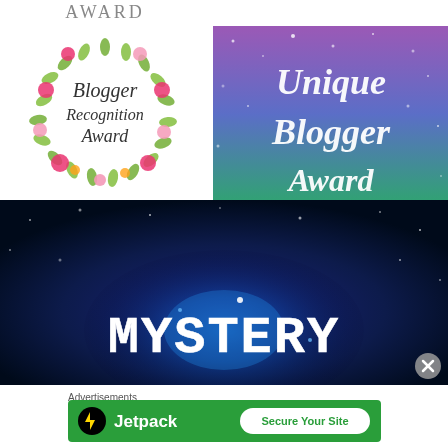[Figure (illustration): Blogger Recognition Award badge with floral wreath border and script text reading 'Blogger Recognition Award'. White background with pink and orange flowers.]
[Figure (illustration): Unique Blogger Award image with purple-to-green glittery gradient background and white script text reading 'Unique Blogger Award'.]
[Figure (illustration): Mystery Blogger Award image with dark blue cosmic/galaxy background with a glowing blue orb and bold white serif text reading 'MYSTERY'.]
Advertisements
[Figure (logo): Jetpack advertisement banner with green background, Jetpack logo on left and 'Secure Your Site' button on right.]